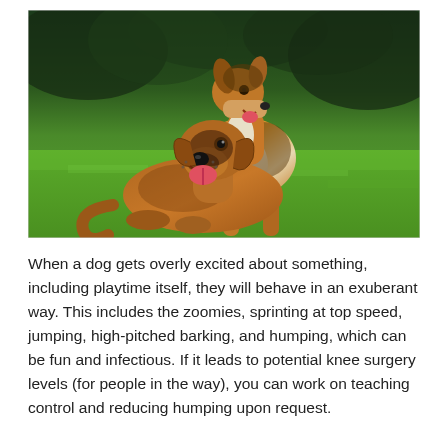[Figure (photo): Two dogs outdoors on green grass. A tall rough collie (Lassie-type) with sable and white fur stands behind a brown and black mixed-breed dog that is lying/sitting on the ground looking up with its mouth open and tongue out.]
When a dog gets overly excited about something, including playtime itself, they will behave in an exuberant way. This includes the zoomies, sprinting at top speed, jumping, high-pitched barking, and humping, which can be fun and infectious. If it leads to potential knee surgery levels (for people in the way), you can work on teaching control and reducing humping upon request.